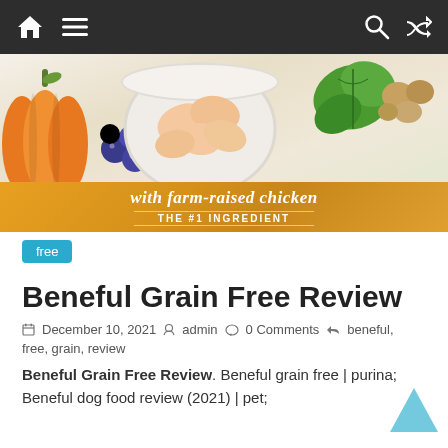Navigation bar with home, menu, search, and shuffle icons
[Figure (photo): Product banner showing farm ingredients: orange pumpkin on left, bowl of raw chicken pieces in center, blueberries, green spinach leaves, and nuts on right. Orange banner reads 'with farm-raised chicken THE #1 INGREDIENT']
free
Beneful Grain Free Review
December 10, 2021  admin  0 Comments  beneful, free, grain, review
Beneful Grain Free Review. Beneful grain free | purina; Beneful dog food review (2021) | pet;